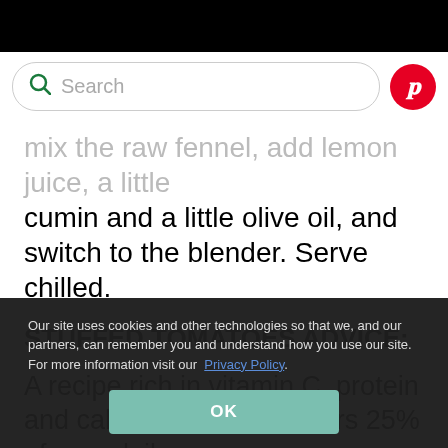Search
mix the raw fennel, add lemon juice, a little cumin and a little olive oil, and switch to the blender. Serve chilled.
STUFFED TOMATOES ADVICE:
A recipe rich in vitamin C, protein and calcium. Tomato covers 25% of your daily
Our site uses cookies and other technologies so that we, and our partners, can remember you and understand how you use our site. For more information visit our Privacy Policy.